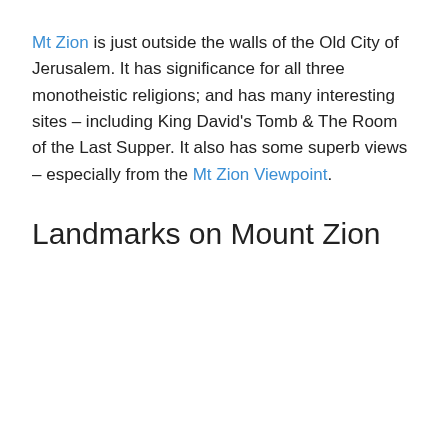Mt Zion is just outside the walls of the Old City of Jerusalem. It has significance for all three monotheistic religions; and has many interesting sites – including King David's Tomb & The Room of the Last Supper. It also has some superb views – especially from the Mt Zion Viewpoint.
Landmarks on Mount Zion